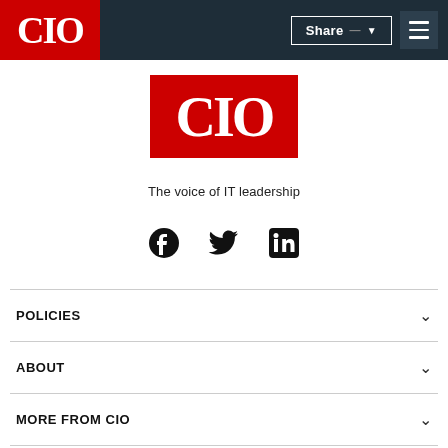CIO — Share — menu
[Figure (logo): CIO magazine logo — red rectangle with white CIO text]
The voice of IT leadership
[Figure (infographic): Social media icons: Facebook, Twitter, LinkedIn]
POLICIES
ABOUT
MORE FROM CIO
DIGITAL MAGAZINE